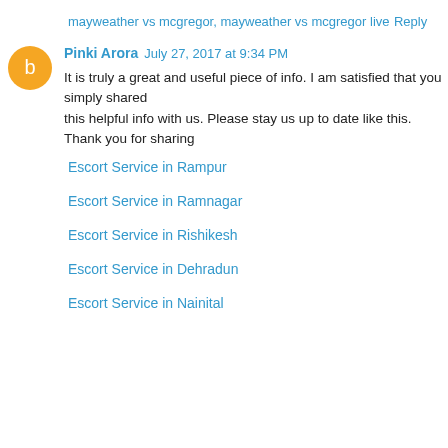mayweather vs mcgregor, mayweather vs mcgregor live
Reply
Pinki Arora  July 27, 2017 at 9:34 PM
It is truly a great and useful piece of info. I am satisfied that you simply shared this helpful info with us. Please stay us up to date like this. Thank you for sharing
Escort Service in Rampur
Escort Service in Ramnagar
Escort Service in Rishikesh
Escort Service in Dehradun
Escort Service in Nainital